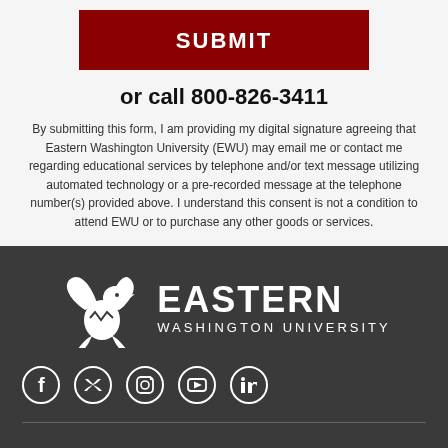SUBMIT
or call 800-826-3411
By submitting this form, I am providing my digital signature agreeing that Eastern Washington University (EWU) may email me or contact me regarding educational services by telephone and/or text message utilizing automated technology or a pre-recorded message at the telephone number(s) provided above. I understand this consent is not a condition to attend EWU or to purchase any other goods or services.
[Figure (logo): Eastern Washington University eagle logo with EASTERN WASHINGTON UNIVERSITY text in white on dark background]
[Figure (infographic): Social media icons row: Facebook, Twitter, Instagram, YouTube, LinkedIn — white circle outlines on dark background]
Apply Now | Request Info | 800-826-3411